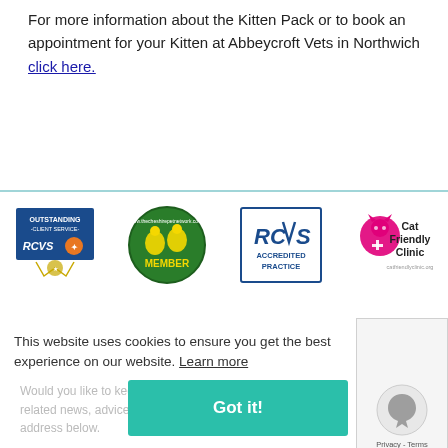For more information about the Kitten Pack or to book an appointment for your Kitten at Abbeycroft Vets in Northwich click here.
[Figure (logo): Four logos in a row: RCVS Outstanding Client Service, Cheshire Pet Network Member (circular green badge), RCVS Accredited Practice, Cat Friendly Clinic]
This website uses cookies to ensure you get the best experience on our website. Learn more
Receive News & Offers
Would you like to keep up to date with the latest pet related news, advice & offers? Simply enter your email address below.
Got it!